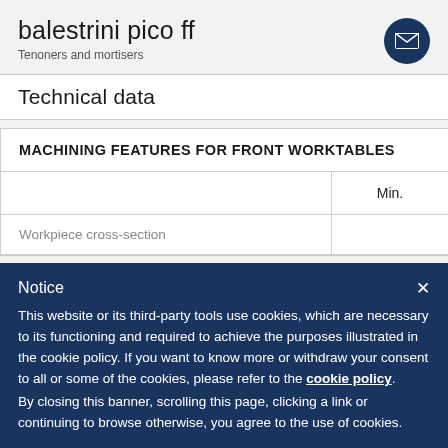balestrini pico ff
Tenoners and mortisers
Technical data
|  | Min. |
| --- | --- |
| Workpiece cross-section |  |
MACHINING FEATURES FOR FRONT WORKTABLES
Notice

This website or its third-party tools use cookies, which are necessary to its functioning and required to achieve the purposes illustrated in the cookie policy. If you want to know more or withdraw your consent to all or some of the cookies, please refer to the cookie policy.
By closing this banner, scrolling this page, clicking a link or continuing to browse otherwise, you agree to the use of cookies.